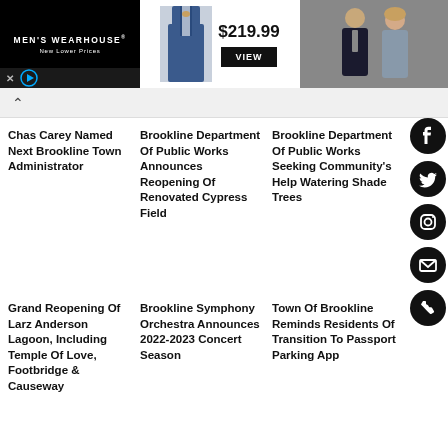[Figure (photo): Men's Wearhouse advertisement banner showing a man in a blue suit with price $219.99 and VIEW button, alongside a couple in formalwear]
Chas Carey Named Next Brookline Town Administrator
Brookline Department Of Public Works Announces Reopening Of Renovated Cypress Field
Brookline Department Of Public Works Seeking Community's Help Watering Shade Trees
Grand Reopening Of Larz Anderson Lagoon, Including Temple Of Love, Footbridge & Causeway
Brookline Symphony Orchestra Announces 2022-2023 Concert Season
Town Of Brookline Reminds Residents Of Transition To Passport Parking App